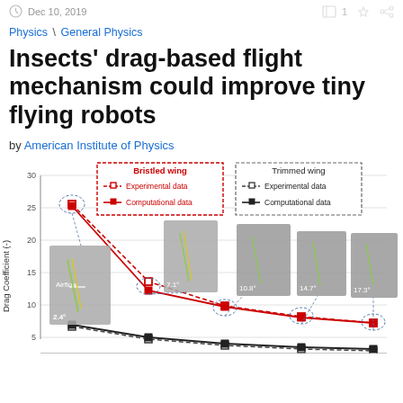Dec 10, 2019
Physics \ General Physics
Insects' drag-based flight mechanism could improve tiny flying robots
by American Institute of Physics
[Figure (line-chart): Drag Coefficient vs angle]